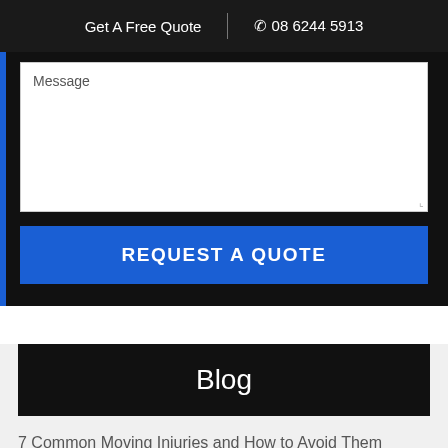Get A Free Quote | ☎ 08 6244 5913
[Figure (screenshot): A web form section with a dark background, a large white message textarea, and a blue REQUEST A QUOTE button]
Blog
7 Common Moving Injuries and How to Avoid Them
When to Move? Complete Moving House Checklist